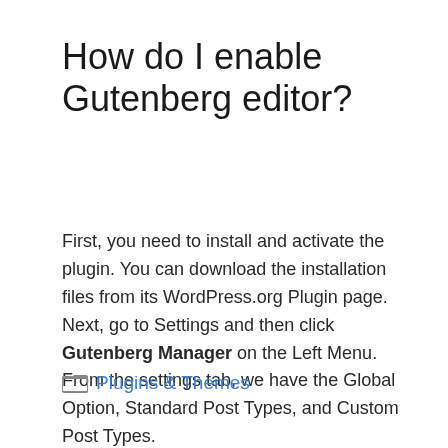How do I enable Gutenberg editor?
First, you need to install and activate the plugin. You can download the installation files from its WordPress.org Plugin page. Next, go to Settings and then click Gutenberg Manager on the Left Menu. From the settings tab, we have the Global Option, Standard Post Types, and Custom Post Types.
Plugins & Themes